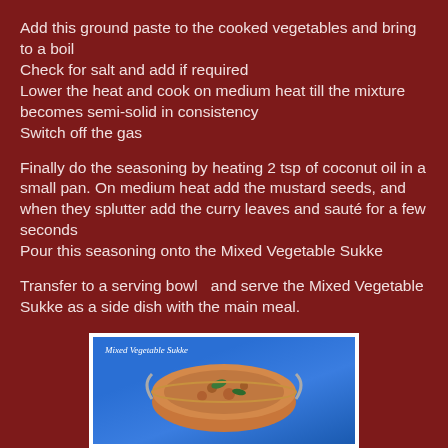Add this ground paste to the cooked vegetables and bring to a boil
Check for salt and add if required
Lower the heat and cook on medium heat till the mixture becomes semi-solid in consistency
Switch off the gas
Finally do the seasoning by heating 2 tsp of coconut oil in a small pan. On medium heat add the mustard seeds, and when they splutter add the curry leaves and sauté for a few seconds
Pour this seasoning onto the Mixed Vegetable Sukke
Transfer to a serving bowl  and serve the Mixed Vegetable Sukke as a side dish with the main meal.
[Figure (photo): Photo of Mixed Vegetable Sukke dish in a metal bowl on a blue textured background, with text 'Mixed Vegetable Sukke' overlaid at top left]